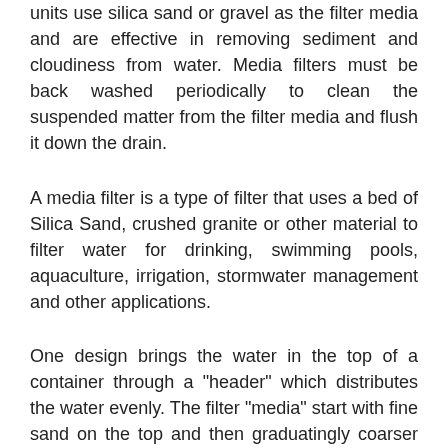units use silica sand or gravel as the filter media and are effective in removing sediment and cloudiness from water. Media filters must be back washed periodically to clean the suspended matter from the filter media and flush it down the drain.
A media filter is a type of filter that uses a bed of Silica Sand, crushed granite or other material to filter water for drinking, swimming pools, aquaculture, irrigation, stormwater management and other applications.
One design brings the water in the top of a container through a "header" which distributes the water evenly. The filter "media" start with fine sand on the top and then graduatingly coarser sand in a